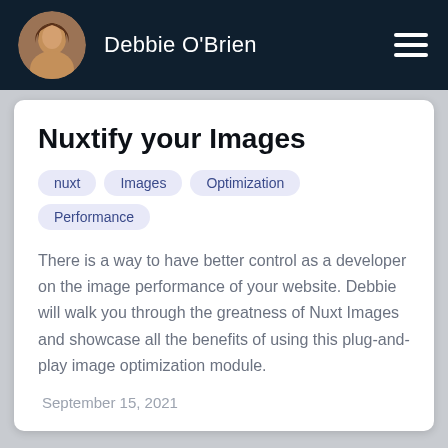Debbie O'Brien
Nuxtify your Images
nuxt
Images
Optimization
Performance
There is a way to have better control as a developer on the image performance of your website. Debbie will walk you through the greatness of Nuxt Images and showcase all the benefits of using this plug-and-play image optimization module.
September 15, 2021